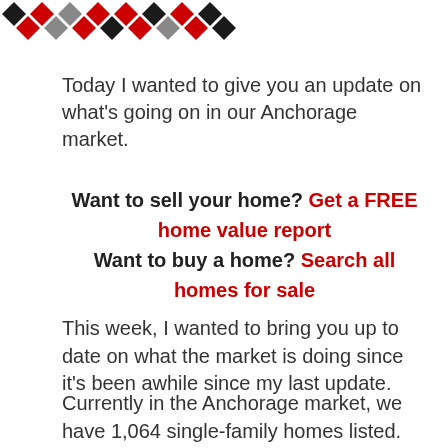[Figure (logo): Decorative diamond/chevron pattern banner in black, red, and gray colors]
Today I wanted to give you an update on what's going on in our Anchorage market.
Want to sell your home? Get a FREE home value report
Want to buy a home? Search all homes for sale
This week, I wanted to bring you up to date on what the market is doing since it's been awhile since my last update.
Currently in the Anchorage market, we have 1,064 single-family homes listed. We have 371, or about 35%, of those listed properties that are pended, and about...